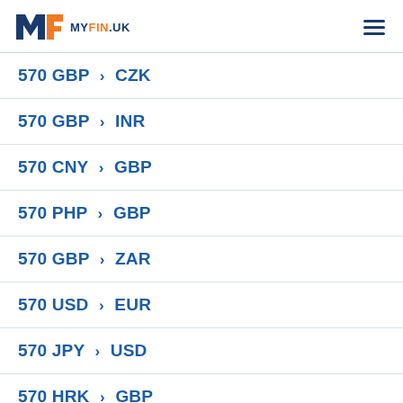MYFIN.UK
570 GBP > CZK
570 GBP > INR
570 CNY > GBP
570 PHP > GBP
570 GBP > ZAR
570 USD > EUR
570 JPY > USD
570 HRK > GBP